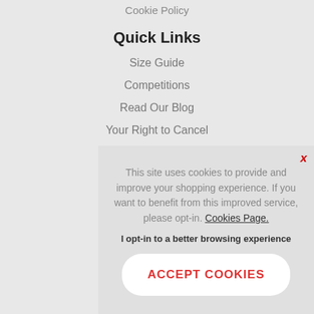Cookie Policy
Quick Links
Size Guide
Competitions
Read Our Blog
Your Right to Cancel
New Arrivals
This site uses cookies to provide and improve your shopping experience. If you want to benefit from this improved service, please opt-in. Cookies Page.
I opt-in to a better browsing experience
ACCEPT COOKIES